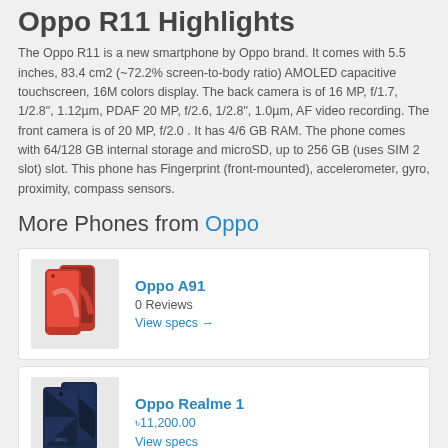Oppo R11 Highlights
The Oppo R11 is a new smartphone by Oppo brand. It comes with 5.5 inches, 83.4 cm2 (~72.2% screen-to-body ratio) AMOLED capacitive touchscreen, 16M colors display. The back camera is of 16 MP, f/1.7, 1/2.8", 1.12µm, PDAF 20 MP, f/2.6, 1/2.8", 1.0µm, AF video recording. The front camera is of 20 MP, f/2.0 . It has 4/6 GB RAM. The phone comes with 64/128 GB internal storage and microSD, up to 256 GB (uses SIM 2 slot) slot. This phone has Fingerprint (front-mounted), accelerometer, gyro, proximity, compass sensors.
More Phones from Oppo
[Figure (photo): Oppo A91 smartphone product photo showing red phone]
Oppo A91
0 Reviews
View specs →
[Figure (photo): Oppo Realme 1 smartphone product photo showing dark blue phones]
Oppo Realme 1
৳11,200.00
View specs